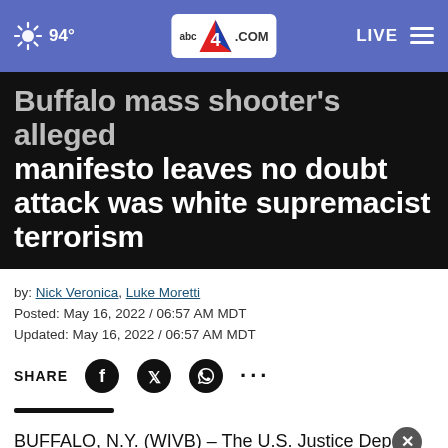94° | abc4.com | LIVE
Buffalo mass shooter's alleged manifesto leaves no doubt attack was white supremacist terrorism
by: Nick Veronica, Luke Moretti
Posted: May 16, 2022 / 06:57 AM MDT
Updated: May 16, 2022 / 06:57 AM MDT
SHARE (Facebook, Twitter, WhatsApp, more)
BUFFALO, N.Y. (WIVB) – The U.S. Justice Department is investigating the Buffalo supermarket shooting as a hate crime and act of racially motivated violent extremism...